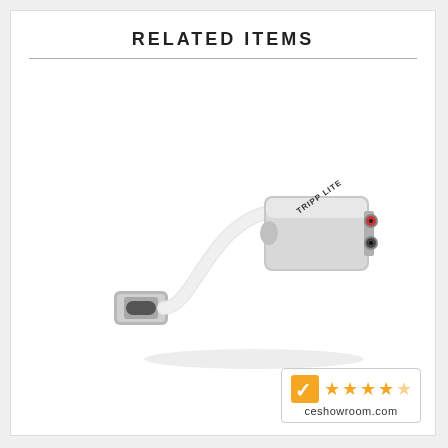RELATED ITEMS
[Figure (photo): A Tripp Lite USB-C to dual 3.5mm audio adapter. The silver/white adapter has a white USB-C cable on the left side and a silver rectangular body with two 3.5mm audio jacks (one red, one black) on the right side. The Tripp Lite logo is visible on the device.]
[Figure (logo): CE Showroom rating badge showing a yellow checkmark logo and five orange stars (four full, one partial), with the text 'ceshowroom.com' below.]